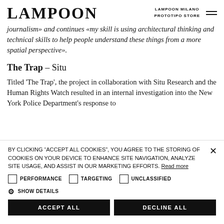LAMPOON | LAMPOON MILANO PROTOTIPO STORE
journalism» and continues «my skill is using architectural thinking and technical skills to help people understand these things from a more spatial perspective».
The Trap – Situ
Titled 'The Trap', the project in collaboration with Situ Research and the Human Rights Watch resulted in an internal investigation into the New York Police Department's response to
BY CLICKING "ACCEPT ALL COOKIES", YOU AGREE TO THE STORING OF COOKIES ON YOUR DEVICE TO ENHANCE SITE NAVIGATION, ANALYZE SITE USAGE, AND ASSIST IN OUR MARKETING EFFORTS. Read more
PERFORMANCE
TARGETING
UNCLASSIFIED
SHOW DETAILS
ACCEPT ALL
DECLINE ALL